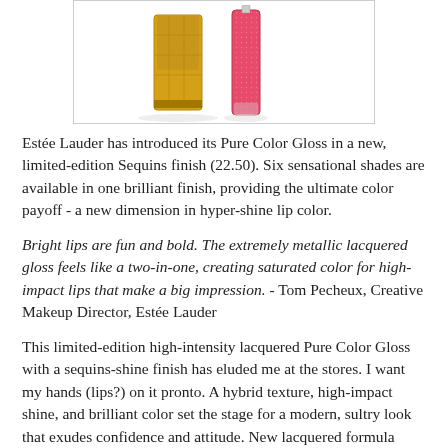[Figure (photo): Product photo showing two Estée Lauder Pure Color Gloss items: a gold lipstick case and a pink/red lip gloss tube, displayed against a white background inside a bordered frame.]
Estée Lauder has introduced its Pure Color Gloss in a new, limited-edition Sequins finish (22.50). Six sensational shades are available in one brilliant finish, providing the ultimate color payoff - a new dimension in hyper-shine lip color.
Bright lips are fun and bold. The extremely metallic lacquered gloss feels like a two-in-one, creating saturated color for high-impact lips that make a big impression. - Tom Pecheux, Creative Makeup Director, Estée Lauder
This limited-edition high-intensity lacquered Pure Color Gloss with a sequins-shine finish has eluded me at the stores. I want my hands (lips?) on it pronto. A hybrid texture, high-impact shine, and brilliant color set the stage for a modern, sultry look that exudes confidence and attitude. New lacquered formula saturates lips with vibrant color for